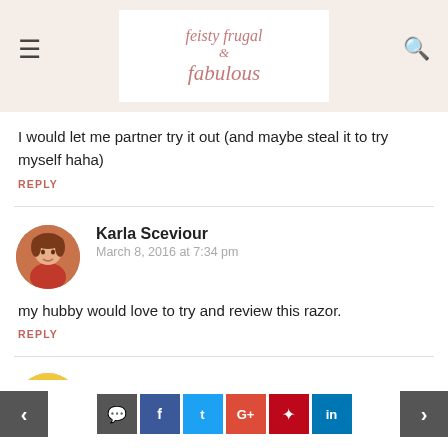feisty frugal & fabulous
I would let me partner try it out (and maybe steal it to try myself haha)
REPLY
Karla Sceviour
March 8, 2016 at 7:34 pm
my hubby would love to try and review this razor.
REPLY
[Figure (photo): Avatar of Karla Sceviour - circular profile photo showing a person]
Josh S
[Figure (illustration): Generic yellow avatar icon for Josh S]
< comment f t G+ p in >